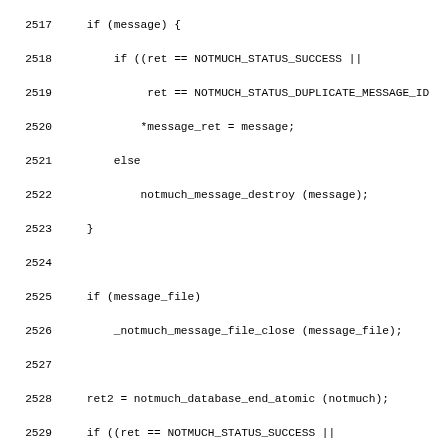[Figure (screenshot): Source code listing in monospace font showing C code for notmuch database functions, lines 2517-2549, with line numbers on the left and code on the right.]